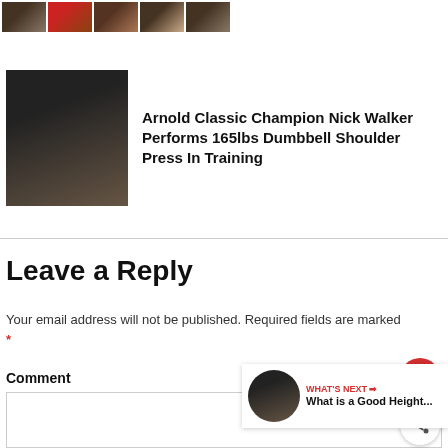[Figure (photo): Row of small thumbnail images at the top of the page]
[Figure (photo): Article thumbnail showing muscular bodybuilder Nick Walker in gym]
Arnold Classic Champion Nick Walker Performs 165lbs Dumbbell Shoulder Press In Training
Leave a Reply
Your email address will not be published. Required fields are marked *
Comment
[Figure (other): Comment text area input box]
[Figure (other): WHAT'S NEXT card: What is a Good Height...]